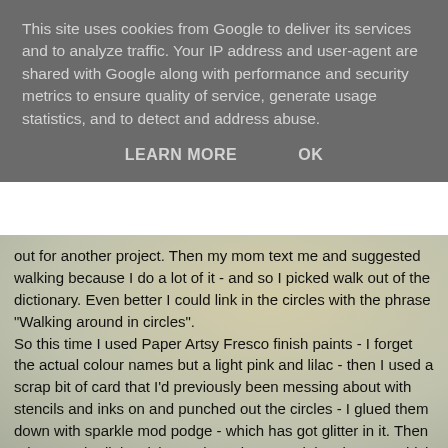This site uses cookies from Google to deliver its services and to analyze traffic. Your IP address and user-agent are shared with Google along with performance and security metrics to ensure quality of service, generate usage statistics, and to detect and address abuse.
LEARN MORE    OK
out for another project. Then my mom text me and suggested walking because I do a lot of it - and so I picked walk out of the dictionary. Even better I could link in the circles with the phrase "Walking around in circles".
 So this time I used Paper Artsy Fresco finish paints - I forget the actual colour names but a light pink and lilac - then I used a scrap bit of card that I'd previously been messing about with stencils and inks on and punched out the circles - I glued them down with sparkle mod podge - which has got glitter in it. Then I drew on the little stick people and stamped the signpost which is from one the Hobby Art scene it sets. Then I used purple archival to stamp the dots (Tim Holtz Ultimate Grunge) and and added some purple glitter. The I used black gesso and a lid to stamp some more